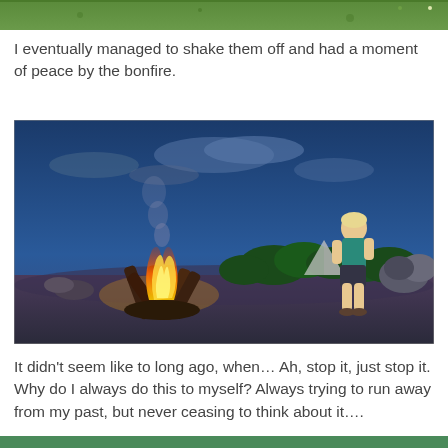[Figure (screenshot): Top portion of a game screenshot showing green outdoor scenery, partially cropped at the top of the page.]
I eventually managed to shake them off and had a moment of peace by the bonfire.
[Figure (screenshot): A video game screenshot (The Sims) showing a character standing near a large bonfire at night. The scene is set outdoors with a blue dusk sky, green bushes, and rocky terrain. The bonfire has tall wooden logs with flames.]
It didn't seem like to long ago, when… Ah, stop it, just stop it. Why do I always do this to myself? Always trying to run away from my past, but never ceasing to think about it….
[Figure (screenshot): Bottom portion of a game screenshot, partially cropped, showing green outdoor scenery.]